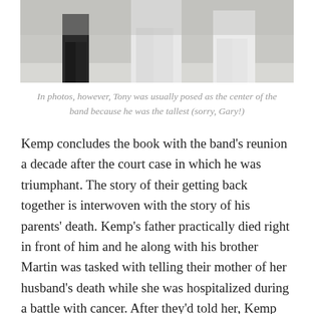[Figure (photo): Partial photo showing three people standing together, only lower portions visible, appearing to be a band photo with one person in dark clothing and others in white.]
In photos, however, Tony was usually posed as the center of the band because he was the tallest (sorry, Gary!)
Kemp concludes the book with the band’s reunion a decade after the court case in which he was triumphant. The story of their getting back together is interwoven with the story of his parents’ death. Kemp’s father practically died right in front of him and he along with his brother Martin was tasked with telling their mother of her husband’s death while she was hospitalized during a battle with cancer. After they’d told her, Kemp says that, “the second or third thing my mother said through her tears after she’d hear what had happened